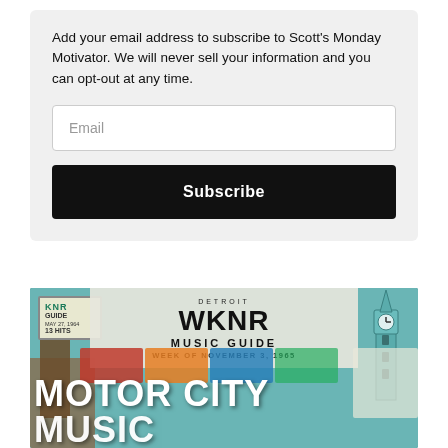Add your email address to subscribe to Scott's Monday Motivator. We will never sell your information and you can opt-out at any time.
[Figure (screenshot): Email subscription form with an Email input field and a black Subscribe button]
[Figure (photo): Photo collage showing WKNR Music Guide (Week of November 3, 1965, Detroit) with text overlay reading MOTOR CITY MUSIC]